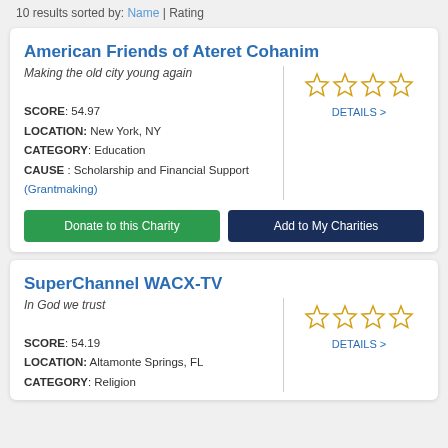10 results sorted by: Name | Rating
American Friends of Ateret Cohanim
Making the old city young again
SCORE: 54.97
LOCATION: New York, NY
CATEGORY: Education
CAUSE : Scholarship and Financial Support (Grantmaking)
[Figure (other): 4 empty gold star rating icons]
DETAILS >
Donate to this Charity
Add to My Charities
SuperChannel WACX-TV
In God we trust
SCORE: 54.19
LOCATION: Altamonte Springs, FL
CATEGORY: Religion
[Figure (other): 4 empty gold star rating icons]
DETAILS >